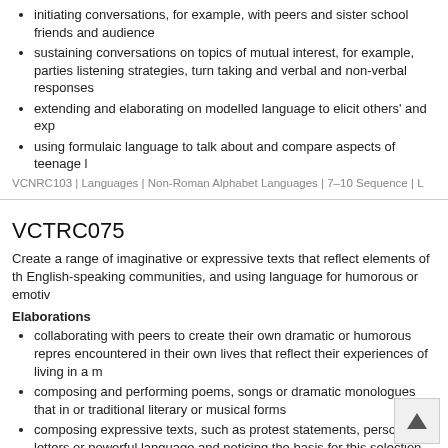initiating conversations, for example, with peers and sister school friends and audience
sustaining conversations on topics of mutual interest, for example, parties listening strategies, turn taking and verbal and non-verbal responses
extending and elaborating on modelled language to elicit others' and exp
using formulaic language to talk about and compare aspects of teenage l
VCNRC103 | Languages | Non-Roman Alphabet Languages | 7–10 Sequence | L
VCTRC075
Create a range of imaginative or expressive texts that reflect elements of th English-speaking communities, and using language for humorous or emotiv
Elaborations
collaborating with peers to create their own dramatic or humorous repres encountered in their own lives that reflect their experiences of living in a m
composing and performing poems, songs or dramatic monologues that in or traditional literary or musical forms
composing expressive texts, such as protest statements, personal letters or powerful language and noticing the basis for this selection
creating riddles to compete with and entertain each other, imitating the us exemplified in riddles from Turkish literature and folklore
creating English language commentaries to an observed Turkish language explain humour or dramatic effects of the original text for non-Turkish spe